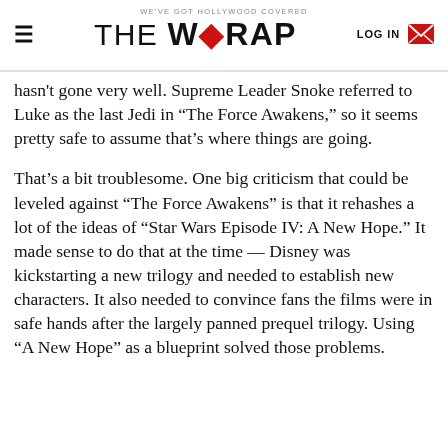WE'VE GOT HOLLYWOOD COVERED | THE WRAP | LOG IN
hasn't gone very well. Supreme Leader Snoke referred to Luke as the last Jedi in “The Force Awakens,” so it seems pretty safe to assume that’s where things are going.
That’s a bit troublesome. One big criticism that could be leveled against “The Force Awakens” is that it rehashes a lot of the ideas of “Star Wars Episode IV: A New Hope.” It made sense to do that at the time — Disney was kickstarting a new trilogy and needed to establish new characters. It also needed to convince fans the films were in safe hands after the largely panned prequel trilogy. Using “A New Hope” as a blueprint solved those problems.